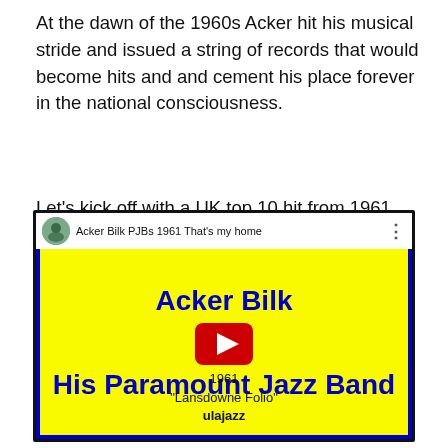At the dawn of the 1960s Acker hit his musical stride and issued a string of records that would become hits and and cement his place forever in the national consciousness.
Let's kick off with a UK top 10 hit from 1961, 'That's My Home' which nicely demonstrates Acker's relaxed take on traditional jazz.
[Figure (screenshot): YouTube video thumbnail for 'Acker Bilk PJBs 1961 That's my home'. Yellow background with blue text reading 'Acker Bilk His Paramount Jazz Band 1961 "Lansdowne Folio" ulajazz'. Red YouTube play button in the center.]